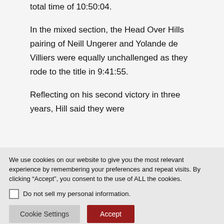total time of 10:50:04.

In the mixed section, the Head Over Hills pairing of Neill Ungerer and Yolande de Villiers were equally unchallenged as they rode to the title in 9:41:55.

Reflecting on his second victory in three years, Hill said they were
We use cookies on our website to give you the most relevant experience by remembering your preferences and repeat visits. By clicking “Accept”, you consent to the use of ALL the cookies.
Do not sell my personal information.
Cookie Settings
Accept